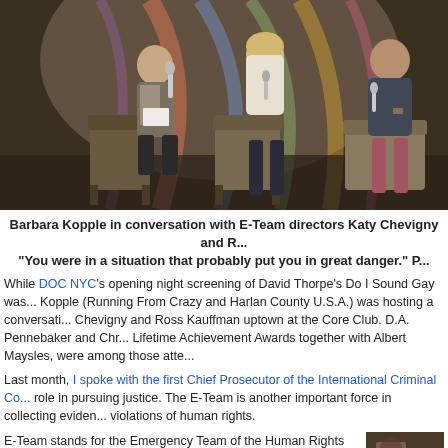[Figure (photo): Three people seated on stage in chairs during a panel discussion. A woman on the left holds a microphone and papers, a woman in the center and a man on the right also hold microphones. Background has colorful draped fabric.]
Barbara Kopple in conversation with E-Team directors Katy Chevigny and R... "You were in a situation that probably put you in great danger." P...
While DOC NYC's opening night screening of David Thorpe's Do I Sound Gay was... Kopple (Running From Crazy and Harlan County U.S.A.) was hosting a conversati... Chevigny and Ross Kauffman uptown at the Core Club. D.A. Pennebaker and Chr... Lifetime Achievement Awards together with Albert Maysles, were among those atte...
Last month, I spoke with the first Chief Prosecutor of the International Criminal Co... role in pursuing justice. The E-Team is another important force in collecting eviden... violations of human rights.
E-Team stands for the Emergency Team of the Human Rights Watch. Chevigny and Kauffman follow four prominent members, Anna Neistat, Ole Solvang, Fred Abrahams and Peter Bouckaert in action as they enter hostile regions such as Syria and Libya to report on abuses.
[Figure (photo): Partial image of what appears to be an outdoor or documentary scene, cropped at the right edge of the page.]